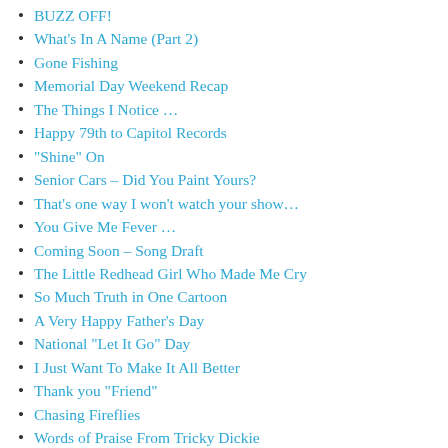BUZZ OFF!
What’s In A Name (Part 2)
Gone Fishing
Memorial Day Weekend Recap
The Things I Notice …
Happy 79th to Capitol Records
“Shine” On
Senior Cars – Did You Paint Yours?
That’s one way I won’t watch your show…
You Give Me Fever …
Coming Soon – Song Draft
The Little Redhead Girl Who Made Me Cry
So Much Truth in One Cartoon
A Very Happy Father’s Day
National “Let It Go” Day
I Just Want To Make It All Better
Thank you “Friend”
Chasing Fireflies
Words of Praise From Tricky Dickie
My “Go to” Karaoke Song(s)
Remember R-R-R-Raw Power?
A Quiet Fourth & Song Draft Update
I Miss My Hammock!
My Time Telling Mouse!